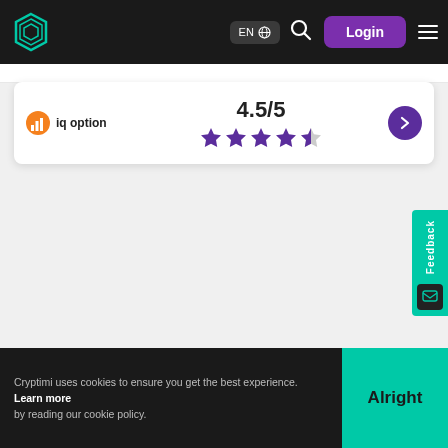[Figure (logo): Cryptimi hexagon logo in teal/green outline on dark navbar]
EN 🌐
Login
[Figure (logo): IQ Option logo - orange circle with bar chart icon, text 'iq option']
4.5/5
[Figure (infographic): 4.5 out of 5 purple stars rating]
Feedback
Cryptimi uses cookies to ensure you get the best experience. Learn more by reading our cookie policy.
Alright